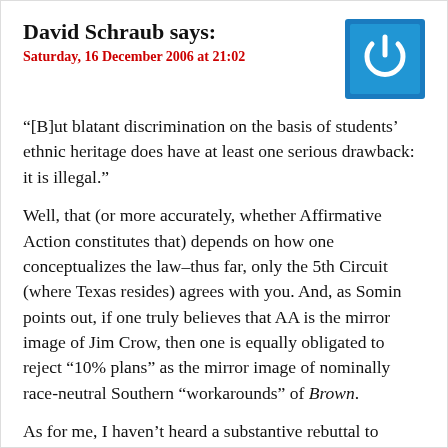David Schraub says:
Saturday, 16 December 2006 at 21:02
[Figure (logo): Blue square with white power button icon]
“[B]ut blatant discrimination on the basis of students’ ethnic heritage does have at least one serious drawback: it is illegal.”
Well, that (or more accurately, whether Affirmative Action constitutes that) depends on how one conceptualizes the law–thus far, only the 5th Circuit (where Texas resides) agrees with you. And, as Somin points out, if one truly believes that AA is the mirror image of Jim Crow, then one is equally obligated to reject “10% plans” as the mirror image of nominally race-neutral Southern “workarounds” of Brown.
As for me, I haven’t heard a substantive rebuttal to Somin’s thesis aside from the argument–which apparently is supposed to be self-sustaining–that AA uses race to pursue racial integration. Since I have yet to fathom why that, in of itself, is offensive (is the the purpose of these results with...